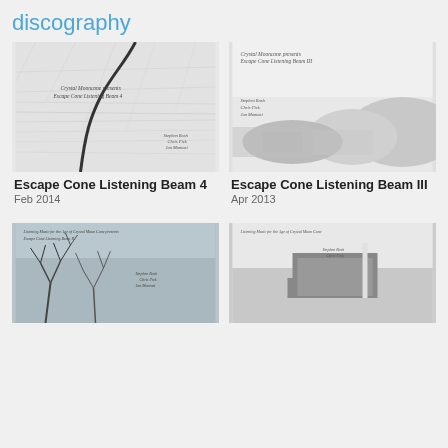discography
[Figure (photo): Album cover for Escape Cone Listening Beam 4 - black and white aerial/landscape image with a dark curved line, text reads Crystal Mooncone presents Escape Cone Listening Beam 4, Stephen Rosh, Chris Pick, Jon Montasi]
Escape Cone Listening Beam 4
Feb 2014
[Figure (photo): Album cover for Escape Cone Listening Beam III - black and white desert landscape/mountainscape image, text reads Crystal Mooncone presents Escape Cone Listening Beam III, Stephen Rosh, Chris Pick, Jon Montasi]
Escape Cone Listening Beam III
Apr 2013
[Figure (photo): Album cover - bluish-grey toned image with bare winter trees, text reads Listening Music for the Age of Crystal Moon Cone presents Escape Cone Listening Beam II, Stephen Rosh, Chris Pick, Jon Montasi]
[Figure (photo): Album cover - black and white image of a stone/concrete structure in a desert landscape, text reads Listening Music for the Age of Crystal Moon Cone, Stephen Rosh, Chris Pick]